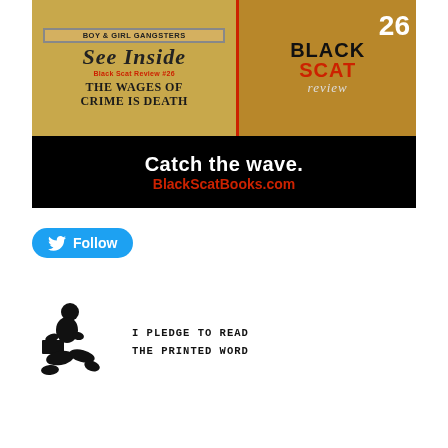[Figure (illustration): Black Scat Review #26 advertisement banner. Left side shows vintage pulp-style poster with text 'BOY & GIRL GANGSTERS', 'SEE INSIDE', 'BLACK SCAT REVIEW #26', 'THE WAGES OF CRIME IS DEATH' on a golden/tan background. Right side shows 'BLACK SCAT review 26' in bold red and white text on a dark background. Bottom black band reads 'Catch the wave.' in white and 'BlackScatBooks.com' in red.]
[Figure (illustration): Twitter Follow button with bird icon in cyan/blue pill shape, text 'Follow' in white.]
[Figure (illustration): Black silhouette of a person sitting and reading, with typewriter-font text 'I PLEDGE TO READ THE PRINTED WORD' beside them.]